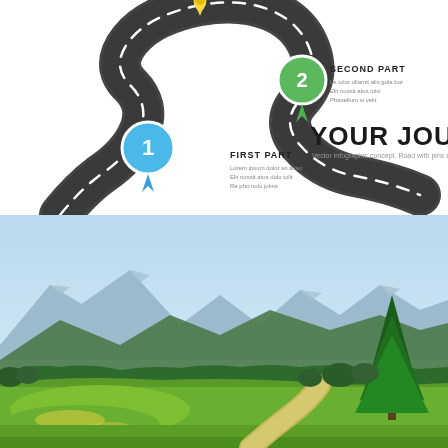[Figure (infographic): Road journey infographic with winding dark road, numbered pin markers (1 in blue, 2 in green, plus a yellow pin at top), labels 'FIRST PART' and 'SECOND PART' with lorem ipsum placeholder text, and large bold text 'YOUR JOURNEY' with subtitle 'Vector infographic concept. Road with pins and text area.']
[Figure (illustration): Illustrated landscape scene with blue sky, distant mountains in muted blue-grey tones, green rolling meadows with yellow wildflowers, trees including a tall pine on the right, and a winding sandy path through the landscape.]